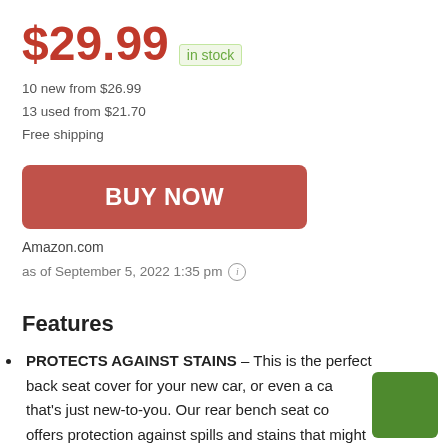$29.99 in stock
10 new from $26.99
13 used from $21.70
Free shipping
[Figure (other): BUY NOW button (red/salmon colored, rounded rectangle)]
Amazon.com
as of September 5, 2022 1:35 pm ℹ
Features
PROTECTS AGAINST STAINS – This is the perfect back seat cover for your new car, or even a car that's just new-to-you. Our rear bench seat cover offers protection against spills and stains that might